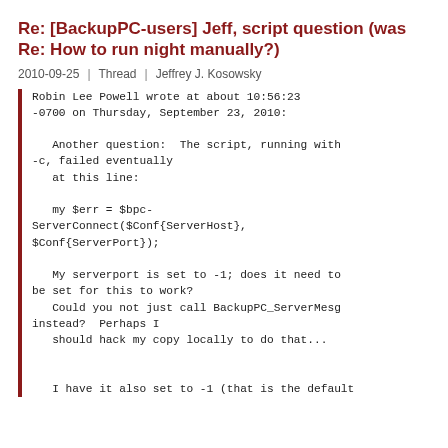Re: [BackupPC-users] Jeff, script question (was Re: How to run night manually?)
2010-09-25 | Thread | Jeffrey J. Kosowsky
Robin Lee Powell wrote at about 10:56:23 -0700 on Thursday, September 23, 2010:

  Another question:  The script, running with -c, failed eventually
  at this line:

  my $err = $bpc-ServerConnect($Conf{ServerHost}, $Conf{ServerPort});

  My serverport is set to -1; does it need to be set for this to work?
  Could you not just call BackupPC_ServerMesg instead?  Perhaps I
  should hack my copy locally to do that...


  I have it also set to -1 (that is the default